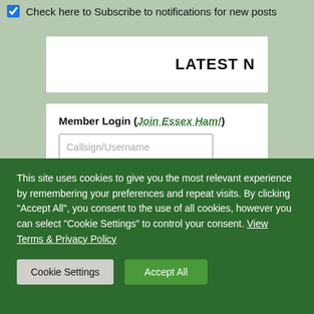Check here to Subscribe to notifications for new posts
LATEST N
Member Login (Join Essex Ham!)
[Figure (screenshot): Web form with Callsign/Username and Password input fields, and a Remember me checkbox]
This site uses cookies to give you the most relevant experience by remembering your preferences and repeat visits. By clicking "Accept All", you consent to the use of all cookies, however you can select "Cookie Settings" to control your consent. View Terms & Privacy Policy
Cookie Settings
Accept All